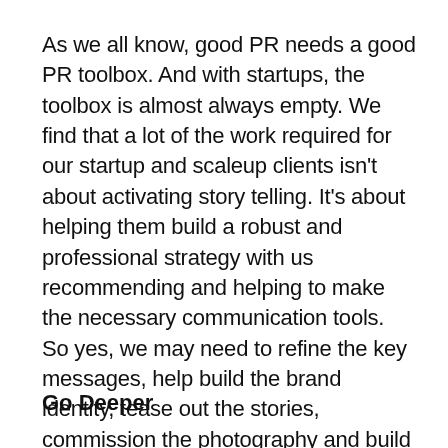As we all know, good PR needs a good PR toolbox. And with startups, the toolbox is almost always empty. We find that a lot of the work required for our startup and scaleup clients isn't about activating story telling. It's about helping them build a robust and professional strategy with us recommending and helping to make the necessary communication tools. So yes, we may need to refine the key messages, help build the brand identity, tease out the stories, commission the photography and build the growth marketing strategy. Yes we do and yes we will!
Go Deeper